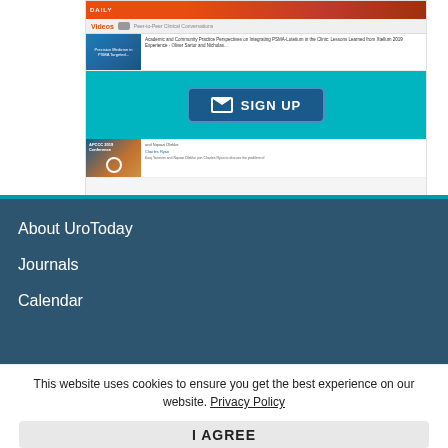[Figure (screenshot): Screenshot of UroToday website showing a SIGN UP email button on a teal banner, with video cards below including PSMA Targeted content and APCCC 2019 Conference video.]
About UroToday
Journals
Calendar
This website uses cookies to ensure you get the best experience on our website. Privacy Policy
I AGREE